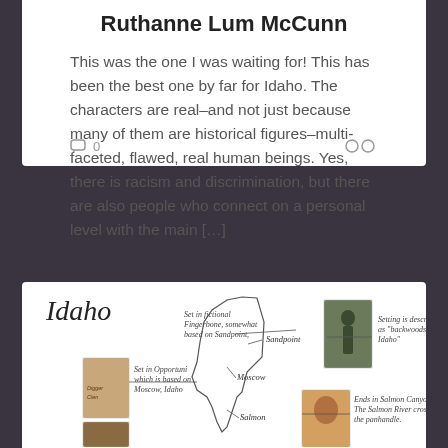Ruthanne Lum McCunn
This was the one I was waiting for! This has been the best one by far for Idaho. The characters are real–and not just because many of them are historical figures–multi-faceted, flawed, real human beings. Yes, there is racism and discrimination, but there are also people who connect on a personal level with the main […]
[Figure (infographic): Idaho map infographic showing book placements by location in Idaho — Sandpoint, Moscow, Salmon — with book cover thumbnails and handwritten notes describing settings.]